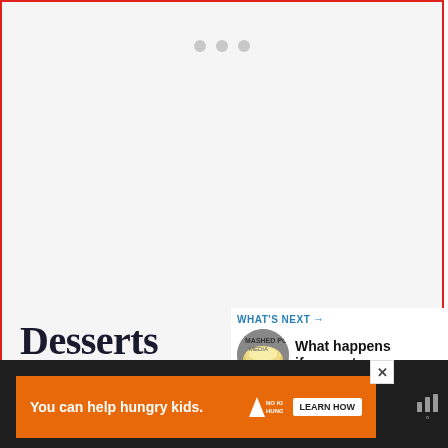[Figure (screenshot): Loading dots indicator — three gray circles arranged horizontally near the top center of a light gray content area with red border]
Desserts
[Figure (screenshot): Blue circular heart/favorite button on right side]
[Figure (screenshot): White circular share button with share icon on right side]
[Figure (screenshot): WHAT'S NEXT panel with thumbnail of mashed/creamy dish and text 'What happens if you eat...']
[Figure (screenshot): Dark footer bar with orange ad for No Kid Hungry: 'You can help hungry kids.' with LEARN HOW button and close X, plus weather/app icon on right]